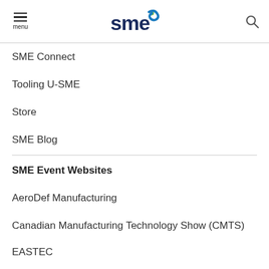menu | SME logo | search
SME Connect
Tooling U-SME
Store
SME Blog
SME Event Websites
AeroDef Manufacturing
Canadian Manufacturing Technology Show (CMTS)
EASTEC
FABTECH
FABTECH Canada